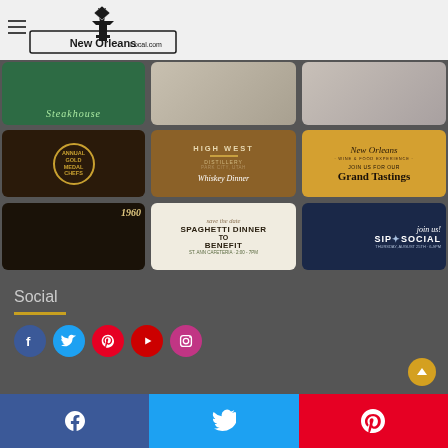[Figure (screenshot): NewOrleansLocal.com website screenshot showing header with logo and hamburger menu, a grid of 9 event/restaurant promotional image cards (Steakhouse, Gold Medal Chefs, High West Distillery Whiskey Dinner, New Orleans Wine & Food Experience Grand Tastings, 1960 cocktails, Spaghetti Dinner to Benefit St. Michael, Sip & Social), a Social section heading with Facebook/Twitter/Pinterest/YouTube/Instagram icons, and a bottom share bar with Facebook, Twitter, and Pinterest buttons.]
NewOrleansLocal.com
[Figure (photo): Steakhouse promotional card - green background]
[Figure (photo): Restaurant promotional image - light background]
[Figure (photo): Restaurant/event promotional image]
[Figure (photo): Gold Medal Chefs annual event - dark background with circular seal]
[Figure (photo): High West Distillery, Park City Utah - Whiskey Dinner promotional card]
[Figure (photo): New Orleans Wine & Food Experience - Join us for our Grand Tastings]
[Figure (photo): 1960 cocktails with bourbon bottles and red drinks]
[Figure (photo): Save the date - Spaghetti Dinner to Benefit St. Michael]
[Figure (photo): Join us! Sip & Social - Thursday August 25th 6-9PM]
Social
Facebook | Twitter | Pinterest share bar